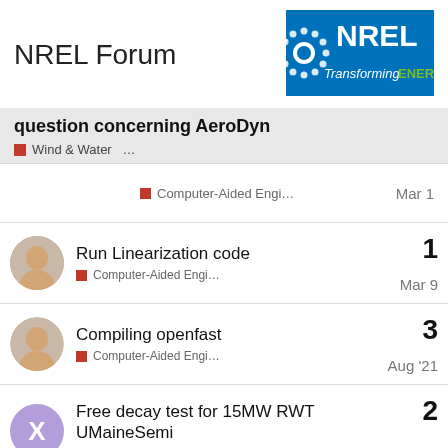NREL Forum
[Figure (logo): NREL logo — blue background with dotted gear icon and text 'NREL Transforming ENERGY' with ENERGY in green]
question concerning AeroDyn
Wind & Water …
Computer-Aided Engi…   Mar 1
Run Linearization code
Computer-Aided Engi…   Mar 9
Reply count: 1
Compiling openfast
Computer-Aided Engi…   Aug '21
Reply count: 3
Free decay test for 15MW RWT UMaineSemi
Computer-Aided Engi…   Feb 14
Reply count: 2
IEA 15 MW RWT on UMaine semi-sub floater-Total Mass Increase
Computer-Aided Engi…   Apr 11
Reply count: 9